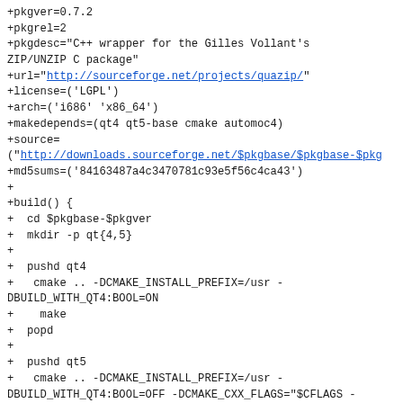+pkgver=0.7.2
+pkgrel=2
+pkgdesc="C++ wrapper for the Gilles Vollant's ZIP/UNZIP C package"
+url="http://sourceforge.net/projects/quazip/"
+license=('LGPL')
+arch=('i686' 'x86_64')
+makedepends=(qt4 qt5-base cmake automoc4)
+source=
("http://downloads.sourceforge.net/$pkgbase/$pkgbase-$pkg
+md5sums=('84163487a4c3470781c93e5f56c4ca43')
+
+build() {
+  cd $pkgbase-$pkgver
+  mkdir -p qt{4,5}
+
+  pushd qt4
+   cmake .. -DCMAKE_INSTALL_PREFIX=/usr -DBUILD_WITH_QT4:BOOL=ON
+    make
+  popd
+
+  pushd qt5
+   cmake .. -DCMAKE_INSTALL_PREFIX=/usr -DBUILD_WITH_QT4:BOOL=OFF -DCMAKE_CXX_FLAGS="$CFLAGS -fPIC"
+    make
+  popd
+}
+